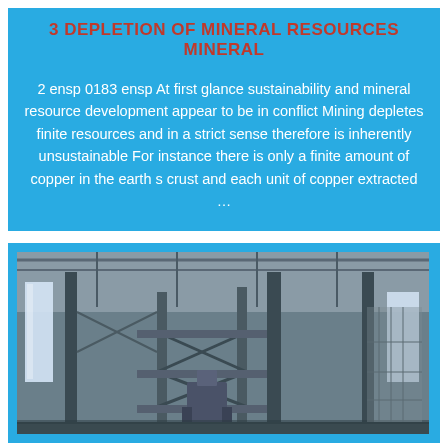3 DEPLETION OF MINERAL RESOURCES Mineral
2 ensp 0183 ensp At first glance sustainability and mineral resource development appear to be in conflict Mining depletes finite resources and in a strict sense therefore is inherently unsustainable For instance there is only a finite amount of copper in the earth s crust and each unit of copper extracted …
[Figure (photo): Interior of a large industrial mining or processing facility showing steel scaffolding, structural columns, conveyor or processing equipment, and a high corrugated metal roof with natural light coming through windows on the sides.]